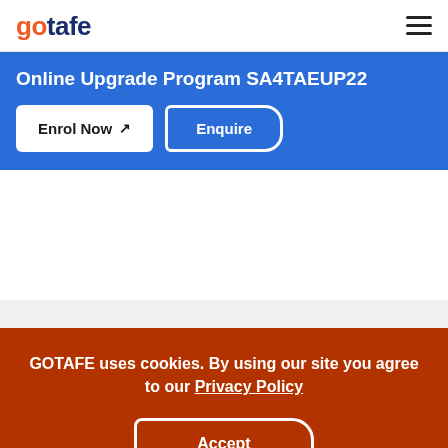gotafe
Online Upgrade Program SA4TAEUP22
Enrol Now | Enquire
GOTAFE uses cookies. By using our site you agree to our Privacy Policy
Accept